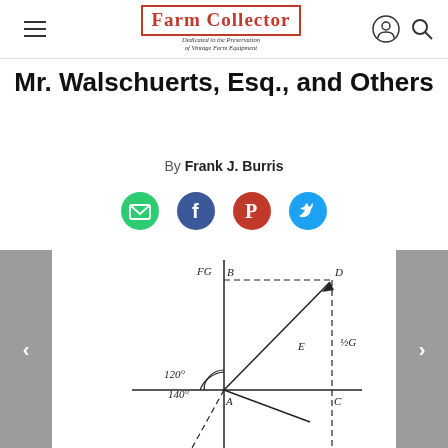Farm Collector — Dedicated to the Preservation of Vintage Farm Equipment
Mr. Walschuerts, Esq., and Others
By Frank J. Burris
[Figure (illustration): Social sharing icons: email (green circle), Facebook (blue circle), Pinterest (red circle), Twitter (blue circle)]
[Figure (engineering-diagram): Geometric diagram showing angles 120° and 140° from point A, with labeled points A, B, C, D, E, FG, and notation 1/2G. Vertical and dashed lines form a construction diagram typical of mechanical linkage geometry. Slide 1 of 2.]